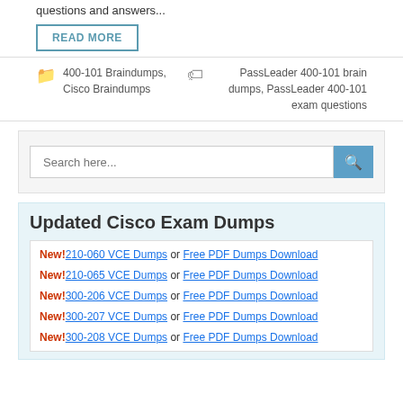questions and answers...
READ MORE
400-101 Braindumps, Cisco Braindumps
PassLeader 400-101 brain dumps, PassLeader 400-101 exam questions
Search here...
Updated Cisco Exam Dumps
New! 210-060 VCE Dumps or Free PDF Dumps Download
New! 210-065 VCE Dumps or Free PDF Dumps Download
New! 300-206 VCE Dumps or Free PDF Dumps Download
New! 300-207 VCE Dumps or Free PDF Dumps Download
New! 300-208 VCE Dumps or Free PDF Dumps Download